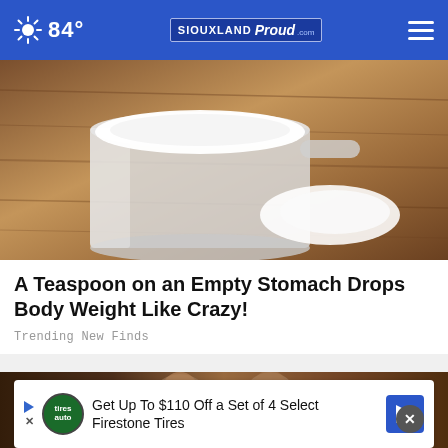84° | SIOUXLAND Proud
[Figure (photo): A measuring cup filled with white powder (likely sugar or salt) on a wooden surface, with a small mound of powder spilled beside it]
A Teaspoon on an Empty Stomach Drops Body Weight Like Crazy!
Trending New Finds
[Figure (photo): Two people posing together in a warmly lit interior setting]
Get Up To $110 Off a Set of 4 Select Firestone Tires